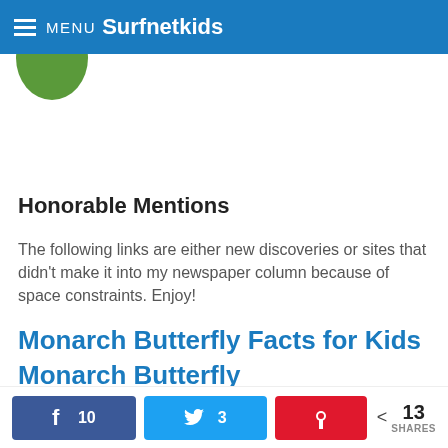MENU Surfnetkids
[Figure (illustration): Green circle/logo partially visible below the header navigation bar]
Honorable Mentions
The following links are either new discoveries or sites that didn't make it into my newspaper column because of space constraints. Enjoy!
Monarch Butterfly Facts for Kids Monarch Butterfly